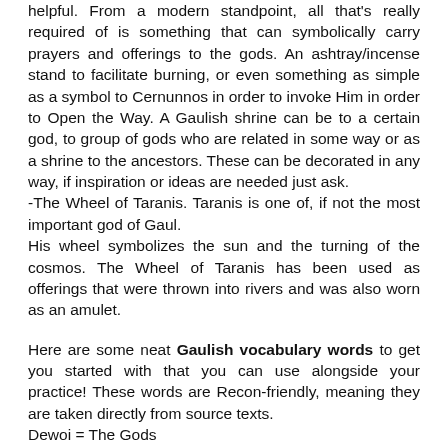helpful. From a modern standpoint, all that's really required of is something that can symbolically carry prayers and offerings to the gods. An ashtray/incense stand to facilitate burning, or even something as simple as a symbol to Cernunnos in order to invoke Him in order to Open the Way. A Gaulish shrine can be to a certain god, to group of gods who are related in some way or as a shrine to the ancestors. These can be decorated in any way, if inspiration or ideas are needed just ask.
-The Wheel of Taranis. Taranis is one of, if not the most important god of Gaul.
His wheel symbolizes the sun and the turning of the cosmos. The Wheel of Taranis has been used as offerings that were thrown into rivers and was also worn as an amulet.
Here are some neat Gaulish vocabulary words to get you started with that you can use alongside your practice! These words are Recon-friendly, meaning they are taken directly from source texts.
Dewoi = The Gods
Antumnos = The Underworld, where spirits & the ancestors reside.